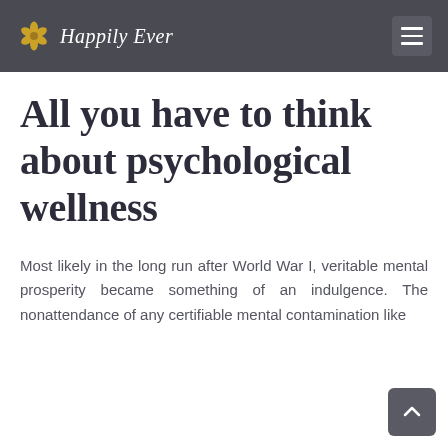Happily Ever
All you have to think about psychological wellness
Most likely in the long run after World War I, veritable mental prosperity became something of an indulgence. The nonattendance of any certifiable mental contamination like